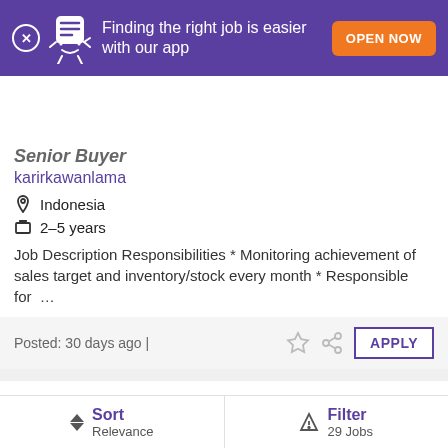[Figure (screenshot): Monster job board app promotion banner with purple background, mascot, and orange OPEN NOW button]
monster
Senior Buyer
karirkawanlama
Indonesia
2–5 years
Job Description Responsibilities * Monitoring achievement of sales target and inventory/stock every month * Responsible for ...
Posted: 30 days ago |
Retail Deposit Prod&Prog Mgr
United Chinese Bank
Indonesia
Sort Relevance | Filter 29 Jobs